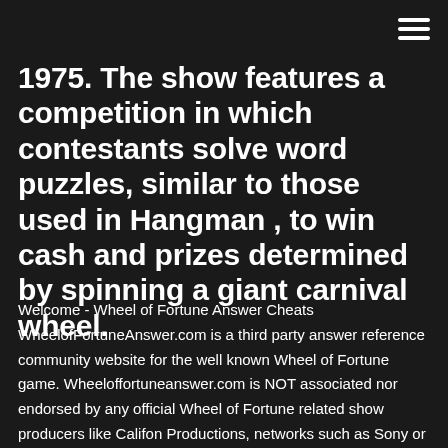1975. The show features a competition in which contestants solve word puzzles, similar to those used in Hangman , to win cash and prizes determined by spinning a giant carnival wheel.
Welcome - Wheel of Fortune Answer Cheats WheelofFortuneAnswer.com is a third party answer reference community website for the well known Wheel of Fortune game. Wheeloffortuneanswer.com is NOT associated nor endorsed by any official Wheel of Fortune related show producers like Califon Productions, networks such as Sony or GSN, nor game developers such as Scopely.